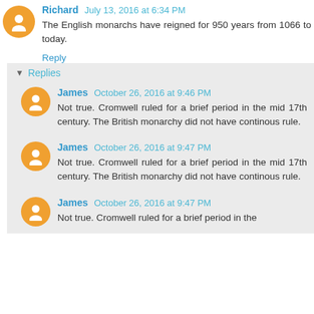Richard July 13, 2016 at 6:34 PM
The English monarchs have reigned for 950 years from 1066 to today.
Reply
Replies
James October 26, 2016 at 9:46 PM
Not true. Cromwell ruled for a brief period in the mid 17th century. The British monarchy did not have continous rule.
James October 26, 2016 at 9:47 PM
Not true. Cromwell ruled for a brief period in the mid 17th century. The British monarchy did not have continous rule.
James October 26, 2016 at 9:47 PM
Not true. Cromwell ruled for a brief period in the